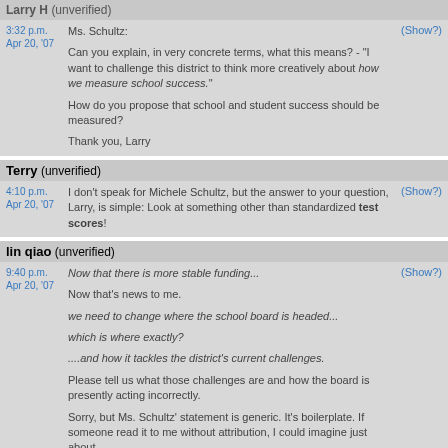Larry H (unverified)
Ms. Schultz:
Can you explain, in very concrete terms, what this means? - "I want to challenge this district to think more creatively about how we measure school success."

How do you propose that school and student success should be measured?

Thank you, Larry
Terry (unverified)
I don't speak for Michele Schultz, but the answer to your question, Larry, is simple: Look at something other than standardized test scores!
lin qiao (unverified)
Now that there is more stable funding...

Now that's news to me.

we need to change where the school board is headed...

which is where exactly?

....and how it tackles the district's current challenges.

Please tell us what those challenges are and how the board is presently acting incorrectly.

Sorry, but Ms. Schultz' statement is generic. It's boilerplate. If someone read it to me without attribution, I could imagine just about